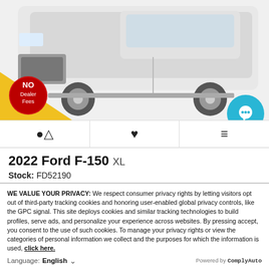[Figure (photo): White Ford F-150 pickup truck on white background, shown from front-right angle. A red circular 'No Dealer Fees' badge is overlaid at bottom-left on a yellow triangle. A teal/blue circular chat bubble icon is at bottom-right of the image area.]
▲  ♥  ≡
2022 Ford F-150 XL
Stock: FD52190
WE VALUE YOUR PRIVACY: We respect consumer privacy rights by letting visitors opt out of third-party tracking cookies and honoring user-enabled global privacy controls, like the GPC signal. This site deploys cookies and similar tracking technologies to build profiles, serve ads, and personalize your experience across websites. By pressing accept, you consent to the use of such cookies. To manage your privacy rights or view the categories of personal information we collect and the purposes for which the information is used, click here.
Language: English   ˅   Powered by ComplyAuto
Accept and Continue →   Privacy Policy   ×